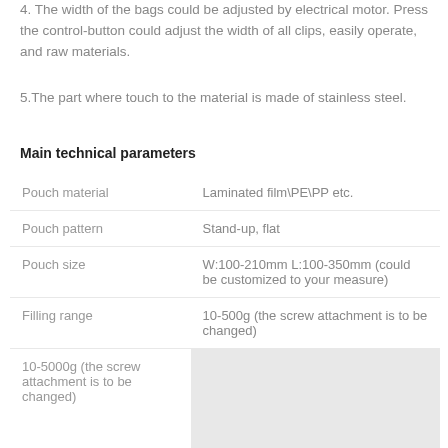4. The width of the bags could be adjusted by electrical motor. Press the control-button could adjust the width of all clips, easily operate, and raw materials.
5.The part where touch to the material is made of stainless steel.
Main technical parameters
|  |  |
| --- | --- |
| Pouch material | Laminated film\PE\PP etc. |
| Pouch pattern | Stand-up, flat |
| Pouch size | W:100-210mm L:100-350mm (could be customized to your measure) |
| Filling range | 10-500g (the screw attachment is to be changed) |
| 10-5000g (the screw attachment is to be changed) |  |